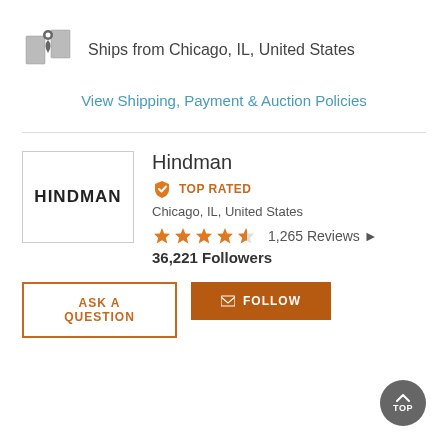Ships from Chicago, IL, United States
View Shipping, Payment & Auction Policies
Hindman
TOP RATED
Chicago, IL, United States
1,265 Reviews
36,221 Followers
ASK A QUESTION
FOLLOW
TOP